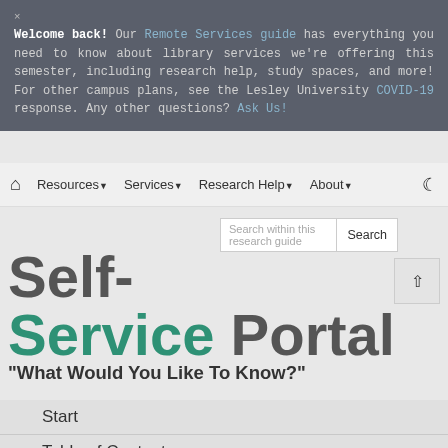Welcome back! Our Remote Services guide has everything you need to know about library services we're offering this semester, including research help, study spaces, and more! For other campus plans, see the Lesley University COVID-19 response. Any other questions? Ask Us!
Resources▾  Services▾  Research Help▾  About▾
Self-Service Portal
"What Would You Like To Know?"
Start
Table of Contents
Start Research/ Pick a Topic